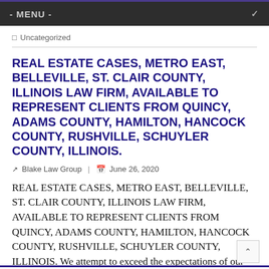- MENU -
Uncategorized
REAL ESTATE CASES, METRO EAST, BELLEVILLE, ST. CLAIR COUNTY, ILLINOIS LAW FIRM, AVAILABLE TO REPRESENT CLIENTS FROM QUINCY, ADAMS COUNTY, HAMILTON, HANCOCK COUNTY, RUSHVILLE, SCHUYLER COUNTY, ILLINOIS.
Blake Law Group | June 26, 2020
REAL ESTATE CASES, METRO EAST, BELLEVILLE, ST. CLAIR COUNTY, ILLINOIS LAW FIRM, AVAILABLE TO REPRESENT CLIENTS FROM QUINCY, ADAMS COUNTY, HAMILTON, HANCOCK COUNTY, RUSHVILLE, SCHUYLER COUNTY, ILLINOIS. We attempt to exceed the expectations of our clients. We have a law…